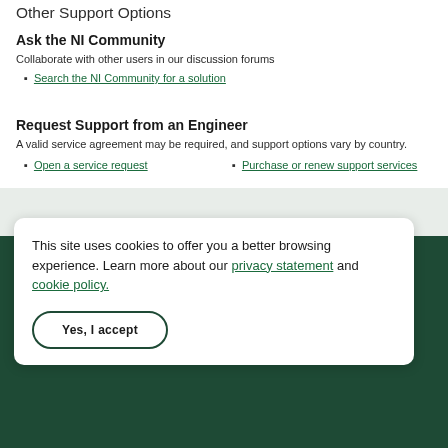Other Support Options
Ask the NI Community
Collaborate with other users in our discussion forums
Search the NI Community for a solution
Request Support from an Engineer
A valid service agreement may be required, and support options vary by country.
Open a service request
Purchase or renew support services
This site uses cookies to offer you a better browsing experience. Learn more about our privacy statement and cookie policy.
Yes, I accept